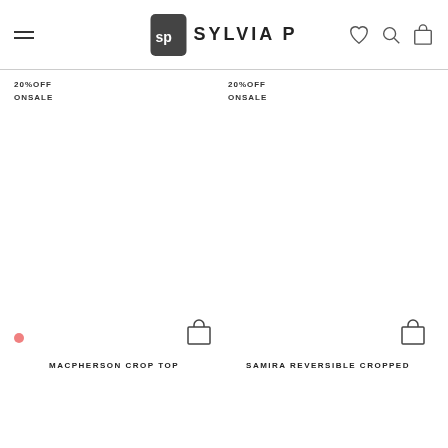SYLVIA P
20%OFF
ONSALE
20%OFF
ONSALE
[Figure (photo): Product image area for Macpherson Crop Top with color swatch dot and cart icon]
[Figure (photo): Product image area for Samira Reversible Cropped with cart icon]
MACPHERSON CROP TOP
SAMIRA REVERSIBLE CROPPED